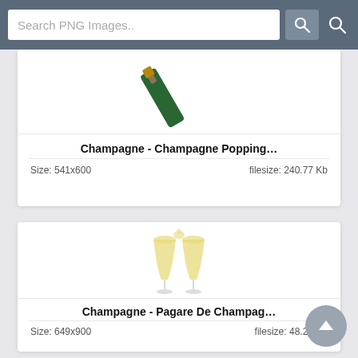Search PNG Images..
[Figure (screenshot): Partial view of a champagne bottle neck image (top of card cut off)]
Champagne - Champagne Popping...
Size: 541x600   filesize: 240.77 Kb
[Figure (illustration): Two champagne flute glasses clinking together with liquid splashing at top]
Champagne - Pagare De Champag...
Size: 649x900   filesize: 48.26 Kb